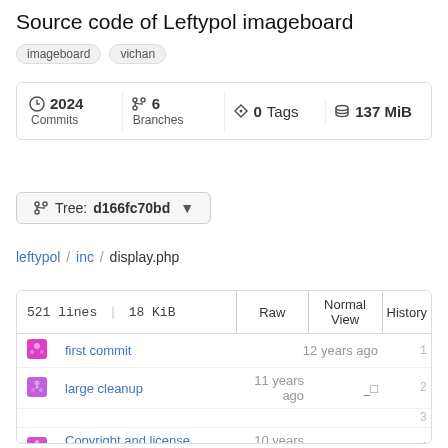Source code of Leftypol imageboard
imageboard  vichan
| Commits | Branches | Tags | Size |
| --- | --- | --- | --- |
| 2024 Commits | 6 Branches | 0 Tags | 137 MiB |
Tree: d166fc70bd ▾
leftypol / inc / display.php
|  | Commit | Time | Diff | Line |
| --- | --- | --- | --- | --- |
| 521 lines | 18 KiB | Raw | Normal View | History |  |
| [avatar] | first commit | 12 years ago |  | 1 |
| [avatar] | large cleanup | 11 years ago | ◫ | 2 |
|  |  |  |  | 3 |
| [avatar] | Copyright and license update f... | 10 years ago | ◫ | 4 |
| [avatar] | large cleanup | 11 years ago | ◫ | 5 |
|  |  |  |  | 6 |
| [avatar] | code cleanup | 11 years ago | ◫ | 7 |